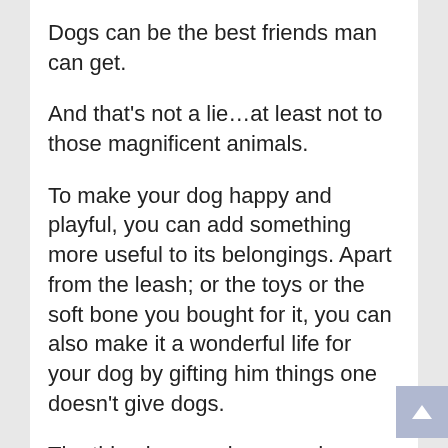Dogs can be the best friends man can get.
And that's not a lie…at least not to those magnificent animals.
To make your dog happy and playful, you can add something more useful to its belongings. Apart from the leash; or the toys or the soft bone you bought for it, you can also make it a wonderful life for your dog by gifting him things one doesn't give dogs.
The thing is, you give your dog more quality time than what it usually knows. As a dog parent, it is much more important to stay in very close contact with it. Allocating more time with it can also generate a more immeasurable bond